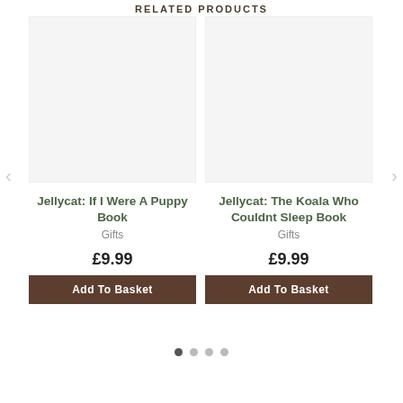RELATED PRODUCTS
[Figure (other): Left navigation arrow]
[Figure (other): Right navigation arrow]
Jellycat: If I Were A Puppy Book
Gifts
£9.99
Add To Basket
Jellycat: The Koala Who Couldnt Sleep Book
Gifts
£9.99
Add To Basket